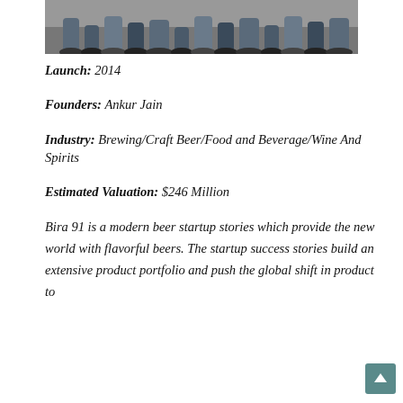[Figure (photo): Photo of a group of people crouching/sitting, showing legs and feet, at the top of the page]
Launch: 2014
Founders: Ankur Jain
Industry: Brewing/Craft Beer/Food and Beverage/Wine And Spirits
Estimated Valuation: $246 Million
Bira 91 is a modern beer startup stories which provide the new world with flavorful beers. The startup success stories build an extensive product portfolio and push the global shift in product to